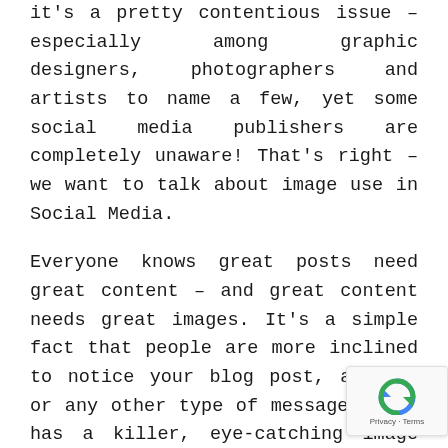it's a pretty contentious issue – especially among graphic designers, photographers and artists to name a few, yet some social media publishers are completely unaware! That's right – we want to talk about image use in Social Media.
Everyone knows great posts need great content – and great content needs great images. It's a simple fact that people are more inclined to notice your blog post, article or any other type of message if it has a killer, eye-catching image associated. But where do these images come from?
That can be the tricky part. Great images are not generally free to use. If you're